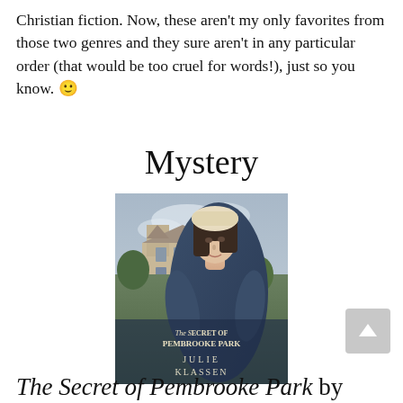Christian fiction. Now, these aren't my only favorites from those two genres and they sure aren't in any particular order (that would be too cruel for words!), just so you know. 🙂
Mystery
[Figure (photo): Book cover of 'The Secret of Pembrooke Park' by Julie Klassen, showing a young woman in period dress with a large manor house in the background.]
The Secret of Pembrooke Park by